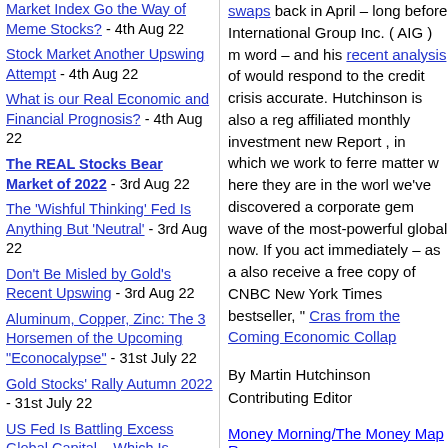Market Index Go the Way of Meme Stocks? - 4th Aug 22
Stock Market Another Upswing Attempt - 4th Aug 22
What is our Real Economic and Financial Prognosis? - 4th Aug 22
The REAL Stocks Bear Market of 2022 - 3rd Aug 22
The 'Wishful Thinking' Fed Is Anything But 'Neutral' - 3rd Aug 22
Don't Be Misled by Gold's Recent Upswing - 3rd Aug 22
Aluminum, Copper, Zinc: The 3 Horsemen of the Upcoming "Econocalypse" - 31st July 22
Gold Stocks' Rally Autumn 2022 - 31st July 22
US Fed Is Battling Excess Global Capital – Which Is Destabilizing - 31st Aug
swaps back in April – long before International Group Inc. ( AIG ) m word – and his recent analysis of would respond to the credit crisis accurate. Hutchinson is also a reg affiliated monthly investment new Report , in which we work to ferre matter w here they are in the worl we've discovered a corporate gem wave of the most-powerful global now. If you act immediately – as a also receive a free copy of CNBC New York Times bestseller, " Cras from the Coming Economic Collap
By Martin Hutchinson
Contributing Editor
Money Morning/The Money Map R
©2008 Monument Street Publishi Protected by copyright laws of the international treaties. Any reprod redistribution (electronic or other world wide web), of content from part, is strictly prohibited without t permission of Monument Street P